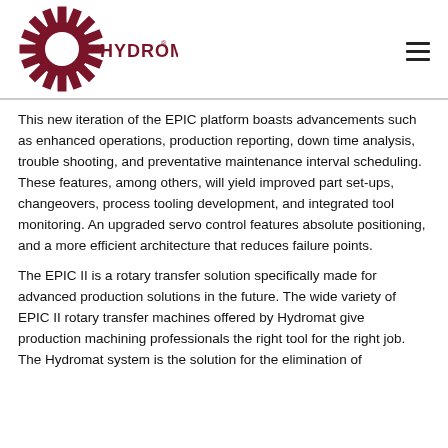[Figure (logo): Hydromat logo: gear icon with HYDROMAT text in dark red]
This new iteration of the EPIC platform boasts advancements such as enhanced operations, production reporting, down time analysis, trouble shooting, and preventative maintenance interval scheduling. These features, among others, will yield improved part set-ups, changeovers, process tooling development, and integrated tool monitoring. An upgraded servo control features absolute positioning, and a more efficient architecture that reduces failure points.
The EPIC II is a rotary transfer solution specifically made for advanced production solutions in the future. The wide variety of EPIC II rotary transfer machines offered by Hydromat give production machining professionals the right tool for the right job. The Hydromat system is the solution for the elimination of